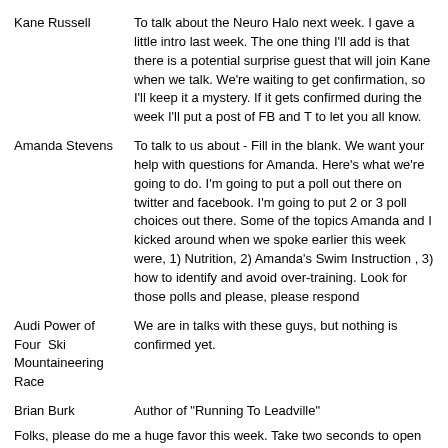Kane Russell | To talk about the Neuro Halo next week.  I gave a little intro last week.  The one thing I'll add is that there is a potential surprise guest that will join Kane when we talk.  We're waiting to get confirmation, so I'll keep it a mystery.  If it gets confirmed during the week I'll put a post of FB and T to let you all know.
Amanda Stevens | To talk to us about - Fill in the blank.  We want your help with questions for Amanda.  Here's what we're going to do.  I'm going to put a poll out there on twitter and facebook.  I'm going to put 2 or 3 poll choices out there.  Some of the topics Amanda and I kicked around when we spoke earlier this week were, 1) Nutrition, 2) Amanda's Swim Instruction , 3) how to identify and avoid over-training.  Look for those polls and please, please respond
Audi Power of Four  Ski Mountaineering Race | We are in talks with these guys, but nothing is confirmed yet.
Brian Burk | Author of  "Running To Leadville"
Folks, please do me a huge favor this week.  Take two seconds to open up your Facebook app and type Mile High Endurance into the search field and